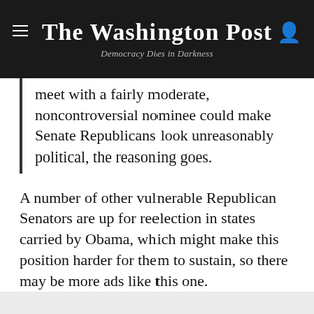The Washington Post
Democracy Dies in Darkness
meet with a fairly moderate, noncontroversial nominee could make Senate Republicans look unreasonably political, the reasoning goes.
A number of other vulnerable Republican Senators are up for reelection in states carried by Obama, which might make this position harder for them to sustain, so there may be more ads like this one.
Story continues below advertisement